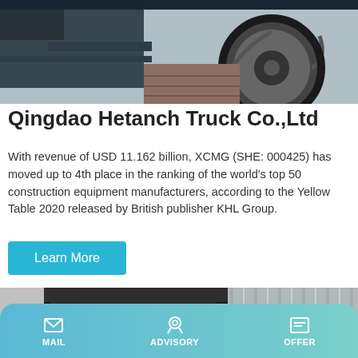[Figure (photo): Photo of a truck rear/undercarriage area with wheels and dark blue/grey machinery visible]
Qingdao Hetanch Truck Co.,Ltd
With revenue of USD 11.162 billion, XCMG (SHE: 000425) has moved up to 4th place in the ranking of the world's top 50 construction equipment manufacturers, according to the Yellow Table 2020 released by British publisher KHL Group.
Learn More
[Figure (photo): Photo of a white concrete pump machine with red diagonal stripe markings, labeled CONCRETE PUMP and HBTS60-12-82R]
MAIL   ADVISORY   OFFER